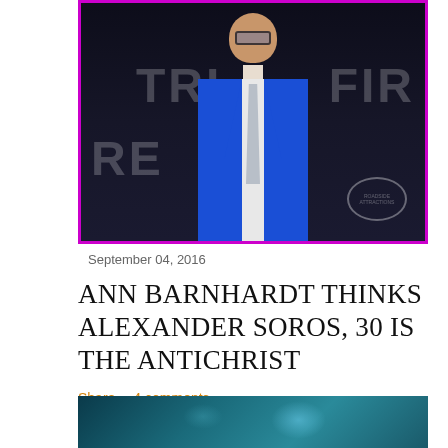[Figure (photo): Man in blue suit with gray tie standing in front of dark backdrop with partial text 'TRI' and 'FIR' and 'RE' and 'ROADSIDE ATTRACTIONS' logo, event photo with magenta/pink border frame]
September 04, 2016
ANN BARNHARDT THINKS ALEXANDER SOROS, 30 IS THE ANTICHRIST
Share    4 comments
[Figure (photo): Dark teal/blue toned image, partially visible at bottom of page]